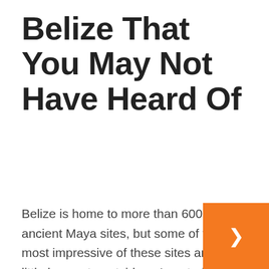Belize That You May Not Have Heard Of
Belize is home to more than 600 ancient Maya sites, but some of the most impressive of these sites are little known to outsiders. Located in Belize's far southern Toledo District, these amazing ancient cities continue to astonish and mystify archeologists. Nim Li Punit  Its original name is unknown, but it's modern Maya name means "Big Hat" because Nim Lim Punit is home to a large collection of carved stelae, including one of a chieftain in an